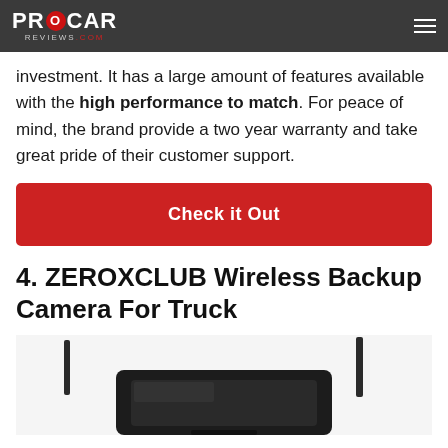PROCAR REVIEWS.COM
investment. It has a large amount of features available with the high performance to match. For peace of mind, the brand provide a two year warranty and take great pride of their customer support.
Check it Out
4. ZEROXCLUB Wireless Backup Camera For Truck
[Figure (photo): Photo of ZEROXCLUB Wireless Backup Camera device with two antennas, shown partially at bottom of page]